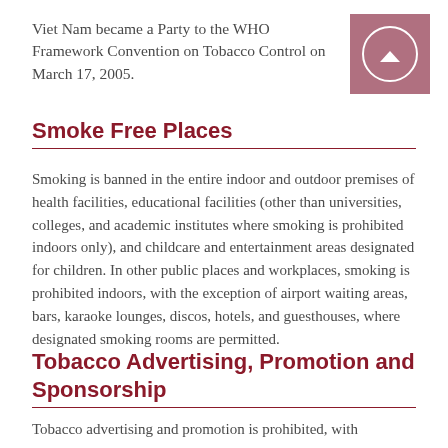Viet Nam became a Party to the WHO Framework Convention on Tobacco Control on March 17, 2005.
Smoke Free Places
Smoking is banned in the entire indoor and outdoor premises of health facilities, educational facilities (other than universities, colleges, and academic institutes where smoking is prohibited indoors only), and childcare and entertainment areas designated for children. In other public places and workplaces, smoking is prohibited indoors, with the exception of airport waiting areas, bars, karaoke lounges, discos, hotels, and guesthouses, where designated smoking rooms are permitted.
Tobacco Advertising, Promotion and Sponsorship
Tobacco advertising and promotion is prohibited, with